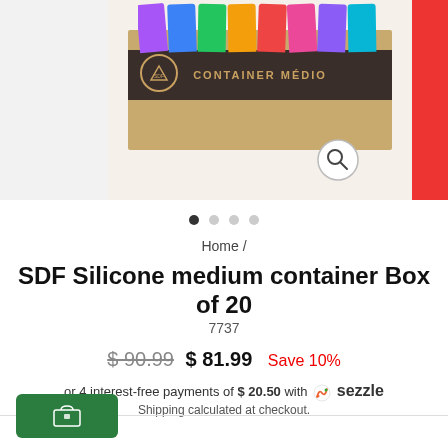[Figure (photo): Product image of SDF Silicone medium container box, showing colorful silicone containers in a kraft cardboard box labeled CONTAINER MÉDIO. Left side shows partial white background thumbnail, right side shows partial red container.]
Home /
SDF Silicone medium container Box of 20
7737
$90.99  $81.99  Save 10%
or 4 interest-free payments of $20.50 with  sezzle
Shipping calculated at checkout.